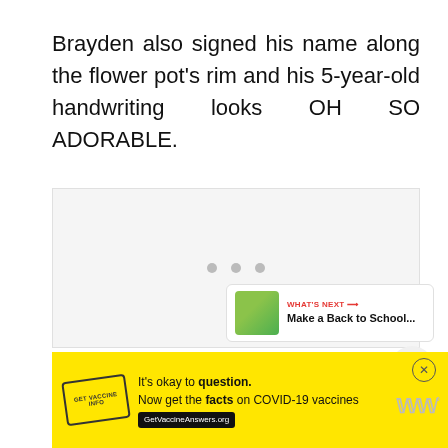Brayden also signed his name along the flower pot's rim and his 5-year-old handwriting looks OH SO ADORABLE.
[Figure (photo): Image placeholder area with three dots indicating a slideshow or loading state. Heart (like) button and share button overlaid on top right. 'What's Next' panel showing a thumbnail and 'Make a Back to School...' label.]
[Figure (infographic): Yellow advertisement banner: 'It's okay to question. Now get the facts on COVID-19 vaccines' with GetVaccineAnswers.org badge and a stamp logo. Close button top right.]